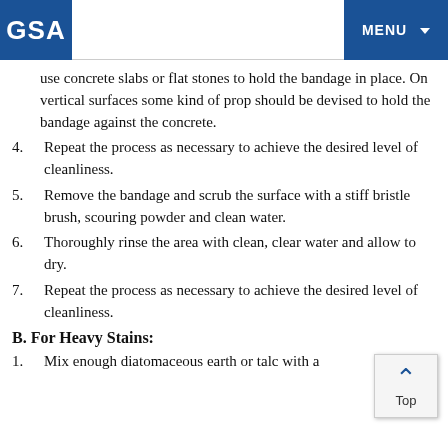GSA | MENU
use concrete slabs or flat stones to hold the bandage in place. On vertical surfaces some kind of prop should be devised to hold the bandage against the concrete.
4. Repeat the process as necessary to achieve the desired level of cleanliness.
5. Remove the bandage and scrub the surface with a stiff bristle brush, scouring powder and clean water.
6. Thoroughly rinse the area with clean, clear water and allow to dry.
7. Repeat the process as necessary to achieve the desired level of cleanliness.
B. For Heavy Stains:
1. Mix enough diatomaceous earth or talc with a